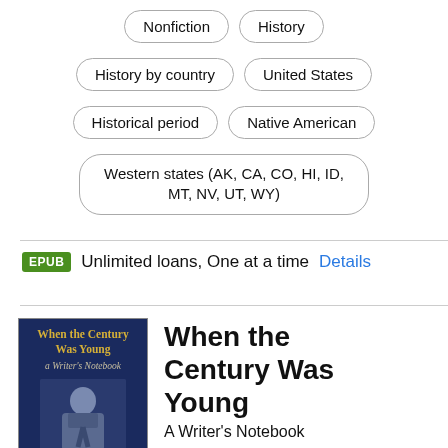Nonfiction
History
History by country
United States
Historical period
Native American
Western states (AK, CA, CO, HI, ID, MT, NV, UT, WY)
EPUB  Unlimited loans, One at a time  Details
[Figure (photo): Book cover of 'When the Century Was Young: A Writer's Notebook' showing a young man in a dark blue-toned photograph]
When the Century Was Young
A Writer's Notebook